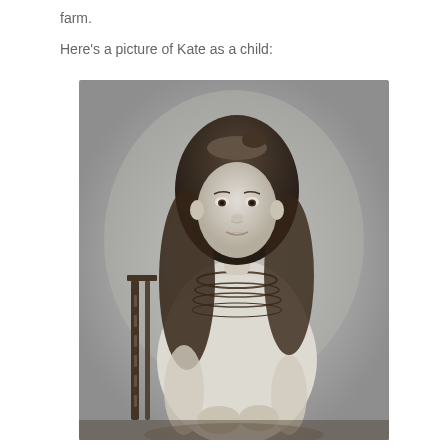farm.
Here's a picture of Kate as a child:
[Figure (photo): Black and white photograph of a young girl (Kate as a child) seated in a wooden chair. She has long curly hair and is wearing a light-colored dress with decorative trim/beading around the neckline. She is looking directly at the camera with a neutral expression.]